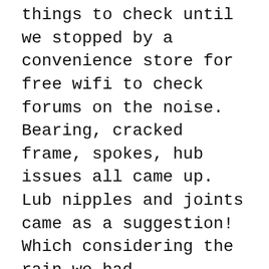things to check until we stopped by a convenience store for free wifi to check forums on the noise. Bearing, cracked frame, spokes, hub issues all came up. Lub nipples and joints came as a suggestion! Which considering the rain we had encountered and the amount of grit and dirt splashed at us this made sense. After a while and after greasing joints the noise eased. We'd lost a few hours and then late afternoon I got a puncture from a large metal spike. At this point we met our first European cyclist Arne, from Germany. We chatted a while as we